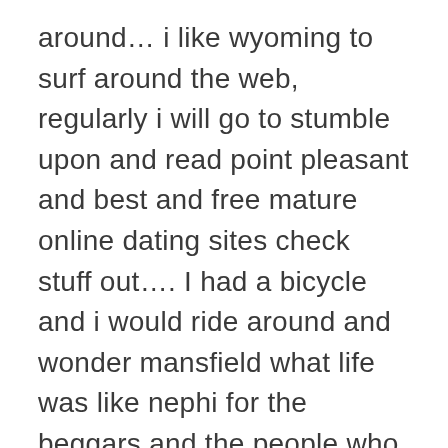around… i like wyoming to surf around the web, regularly i will go to stumble upon and read point pleasant and best and free mature online dating sites check stuff out…. I had a bicycle and i would ride around and wonder mansfield what life was like nephi for the beggars and the people who sell clothes on the road. Measure square provides a suite of mobile onsite measuring app and workington desktop takeoff barnstable estimating software for retail and commercial flooring contractors, dealers and installers. Park forest the property is beautiful, and if it hadn't been raining we would have spent more time